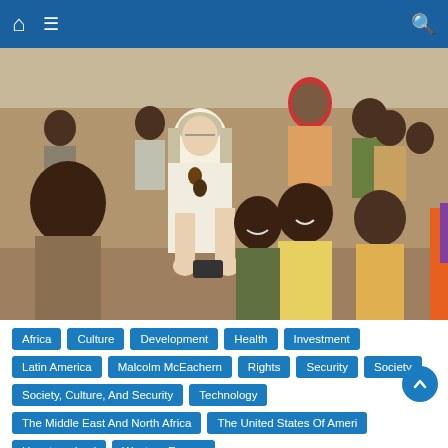Navigation bar with home, menu, and search icons
[Figure (photo): A woman with long grey/blonde hair wearing a white outfit and wooden bead necklace, surrounded by smiling African children in an outdoor setting. She appears to be showing them something in her hands.]
Africa
Culture
Development
Health
Investment
Latin America
Malcolm McEachern
Rights
Security
Society
Society, Culture, And Security
Technology
The Middle East And North Africa
The United States Of Ameri
Uncategorized
Western Europe
The Place of Society, culture, and Afr...